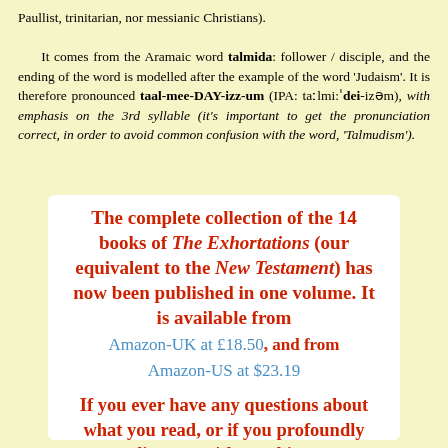Paullist, trinitarian, nor messianic Christians). It comes from the Aramaic word talmida: follower / disciple, and the ending of the word is modelled after the example of the word 'Judaism'. It is therefore pronounced taal-mee-DAY-izz-um (IPA: taːlmi:ˈdei-izəm), with emphasis on the 3rd syllable (it's important to get the pronunciation correct, in order to avoid common confusion with the word, 'Talmudism').
The complete collection of the 14 books of The Exhortations (our equivalent to the New Testament) has now been published in one volume. It is available from Amazon-UK at £18.50, and from Amazon-US at $23.19

If you ever have any questions about what you read, or if you profoundly disagree with anything,